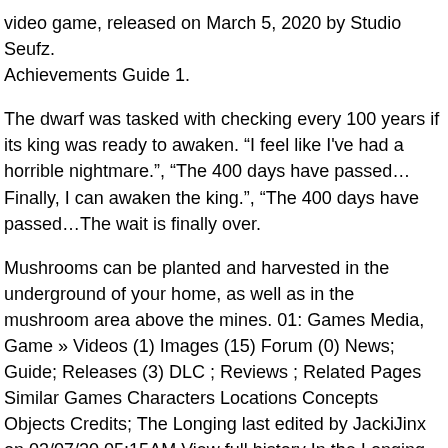video game, released on March 5, 2020 by Studio Seufz.
Achievements Guide 1.
The dwarf was tasked with checking every 100 years if its king was ready to awaken. “I feel like I've had a horrible nightmare.”, “The 400 days have passed…Finally, I can awaken the king.”, “The 400 days have passed…The wait is finally over.
Mushrooms can be planted and harvested in the underground of your home, as well as in the mushroom area above the mines. 01: Games Media, Game » Videos (1) Images (15) Forum (0) News; Guide; Releases (3) DLC ; Reviews ; Related Pages Similar Games Characters Locations Concepts Objects Credits; The Longing last edited by JackiJinx on 03/07/20 05:15AM View full history In the Longing, you play as a servant and must wait 400 days in a cave for the King to awaken. For the…